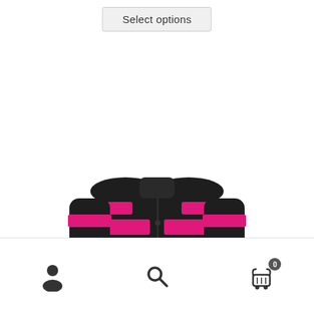Select options
[Figure (photo): Black and pink snowmobile / motorsport jacket and pants combo (Explorer brand) displayed on a headless mannequin. The jacket features bold pink horizontal stripes across the chest, shoulders, and sides, with embroidered text on the left chest and 'EXPLORER' text on the right chest. A hang tag is visible at the front. The pants are solid black.]
[Figure (infographic): Bottom navigation bar with three icons: a person/user icon on the left, a search/magnifying glass icon in the center, and a shopping cart icon with a badge showing '0' on the right.]